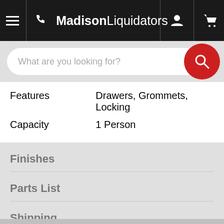MadisonLiquidators
What are you looking for?
| Features | Drawers, Grommets, Locking |
| Capacity | 1 Person |
Finishes
Parts List
Shipping
Warranty